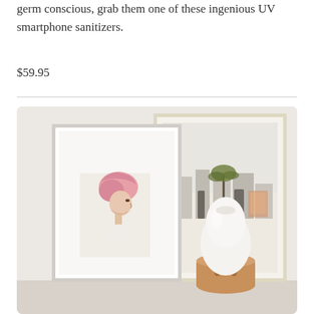germ conscious, grab them one of these ingenious UV smartphone sanitizers.
$59.95
[Figure (photo): A shelf scene showing two framed artworks leaning against a wall. The left frame (white) contains a photo of a woman in profile with a pink towel wrapped around her hair. The right frame (gold/cream) shows a Mediterranean-style architectural scene with palm trees. In front of the frames sits a white egg-shaped diffuser or humidifier with a wooden/terracotta base.]